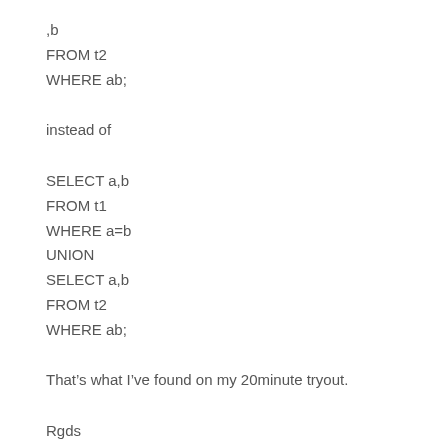,b
FROM t2
WHERE ab;
instead of
SELECT a,b
FROM t1
WHERE a=b
UNION
SELECT a,b
FROM t2
WHERE ab;
That’s what I’ve found on my 20minute tryout.
Rgds